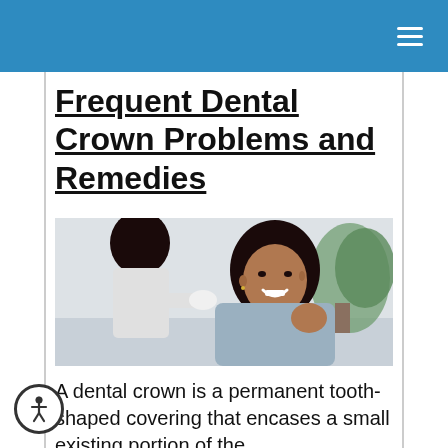Frequent Dental Crown Problems and Remedies
[Figure (photo): A dental professional in white gloves consulting with a smiling female patient in a dental chair. The patient has curly dark hair and is wearing a white dental bib.]
A dental crown is a permanent tooth-shaped covering that encases a small existing portion of the